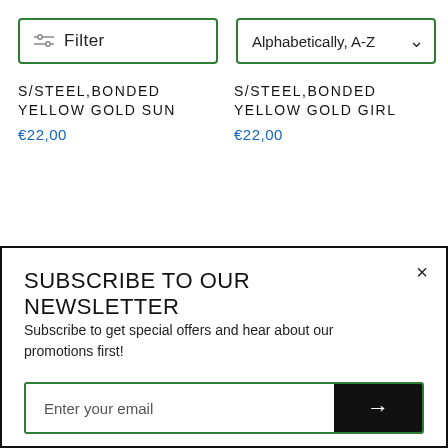[Figure (screenshot): Filter button with green border and sliders icon]
[Figure (screenshot): Sort dropdown showing 'Alphabetically, A-Z' with green border and chevron]
S/STEEL,BONDED YELLOW GOLD SUN
€22,00
S/STEEL,BONDED YELLOW GOLD GIRL
€22,00
SUBSCRIBE TO OUR NEWSLETTER
Subscribe to get special offers and hear about our promotions first!
Enter your email